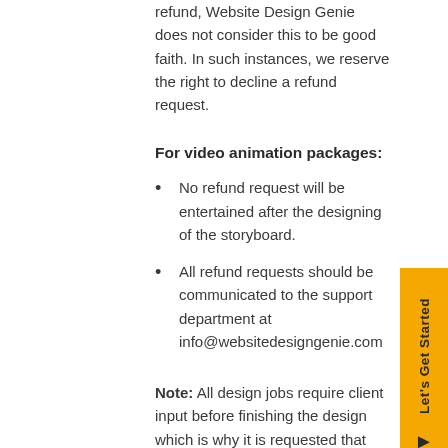refund, Website Design Genie does not consider this to be good faith. In such instances, we reserve the right to decline a refund request.
For video animation packages:
No refund request will be entertained after the designing of the storyboard.
All refund requests should be communicated to the support department at info@websitedesigngenie.com
Note: All design jobs require client input before finishing the design which is why it is requested that the customer is active throughout the process and gives feedback in order to get the required results.